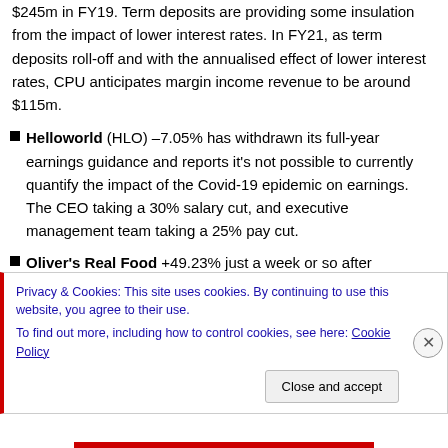$245m in FY19. Term deposits are providing some insulation from the impact of lower interest rates. In FY21, as term deposits roll-off and with the annualised effect of lower interest rates, CPU anticipates margin income revenue to be around $115m.
Helloworld (HLO) –7.05% has withdrawn its full-year earnings guidance and reports it's not possible to currently quantify the impact of the Covid-19 epidemic on earnings. The CEO taking a 30% salary cut, and executive management team taking a 25% pay cut.
Oliver's Real Food +49.23% just a week or so after
Privacy & Cookies: This site uses cookies. By continuing to use this website, you agree to their use. To find out more, including how to control cookies, see here: Cookie Policy